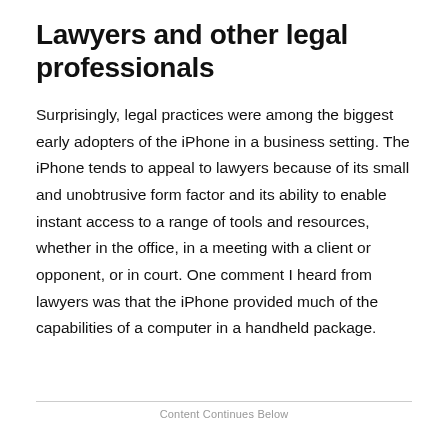Lawyers and other legal professionals
Surprisingly, legal practices were among the biggest early adopters of the iPhone in a business setting. The iPhone tends to appeal to lawyers because of its small and unobtrusive form factor and its ability to enable instant access to a range of tools and resources, whether in the office, in a meeting with a client or opponent, or in court. One comment I heard from lawyers was that the iPhone provided much of the capabilities of a computer in a handheld package.
Content Continues Below